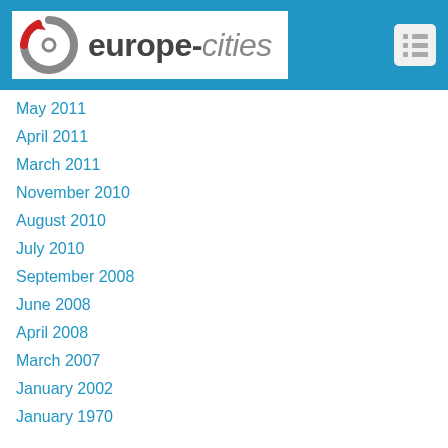[Figure (logo): europe-cities website header logo with circular arrow icon and text 'europe-cities' on blue background]
May 2011
April 2011
March 2011
November 2010
August 2010
July 2010
September 2008
June 2008
April 2008
March 2007
January 2002
January 1970